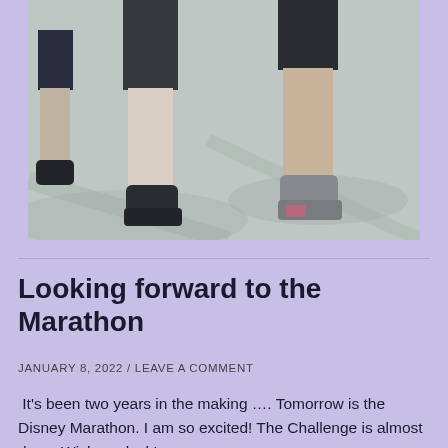[Figure (photo): Photo of runners' legs and feet on pavement during a marathon, cropped at mid-thigh level showing athletic shoes and road surface]
Looking forward to the Marathon
JANUARY 8, 2022 / LEAVE A COMMENT
It's been two years in the making …. Tomorrow is the Disney Marathon.  I am so excited!   The Challenge is almost done.  Wish me luck!